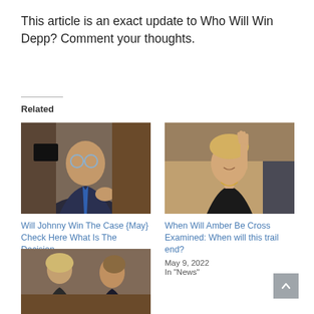This article is an exact update to Who Will Win Depp? Comment your thoughts.
Related
[Figure (photo): Photo of Johnny Depp in a suit with blue tie, wearing glasses, at a courtroom or hearing setting]
Will Johnny Win The Case {May} Check Here What Is The Decision
May 19, 2022
In "News"
[Figure (photo): Photo of Amber Heard raising her hand, waving, wearing a black top with gold necklace]
When Will Amber Be Cross Examined: When will this trail end?
May 9, 2022
In "News"
[Figure (photo): Photo of Amber Heard and Johnny Depp standing in a courtroom]